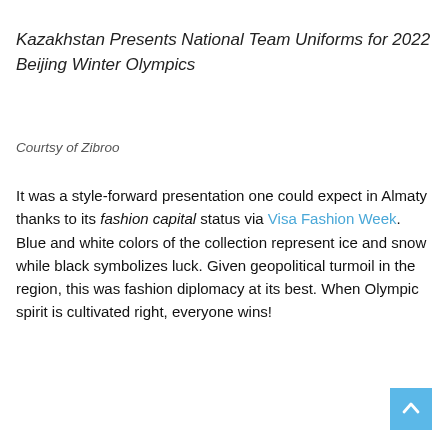Kazakhstan Presents National Team Uniforms for 2022 Beijing Winter Olympics
Courtsy of Zibroo
It was a style-forward presentation one could expect in Almaty thanks to its fashion capital status via Visa Fashion Week. Blue and white colors of the collection represent ice and snow while black symbolizes luck. Given geopolitical turmoil in the region, this was fashion diplomacy at its best. When Olympic spirit is cultivated right, everyone wins!